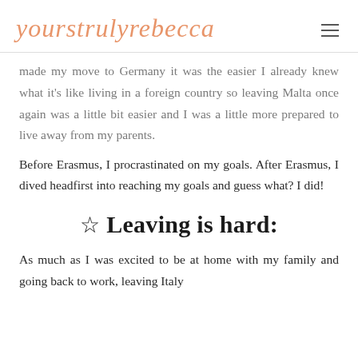yourstrulyrebecca
made my move to Germany it was the easier I already knew what it's like living in a foreign country so leaving Malta once again was a little bit easier and I was a little more prepared to live away from my parents.
Before Erasmus, I procrastinated on my goals. After Erasmus, I dived headfirst into reaching my goals and guess what? I did!
☆ Leaving is hard:
As much as I was excited to be at home with my family and going back to work, leaving Italy